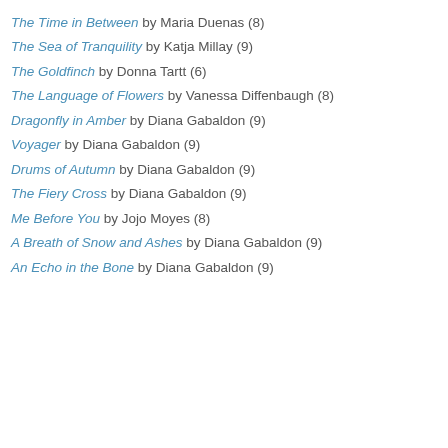The Time in Between by Maria Duenas (8)
The Sea of Tranquility by Katja Millay (9)
The Goldfinch by Donna Tartt (6)
The Language of Flowers by Vanessa Diffenbaugh (8)
Dragonfly in Amber by Diana Gabaldon (9)
Voyager by Diana Gabaldon (9)
Drums of Autumn by Diana Gabaldon (9)
The Fiery Cross by Diana Gabaldon (9)
Me Before You by Jojo Moyes (8)
A Breath of Snow and Ashes by Diana Gabaldon (9)
An Echo in the Bone by Diana Gabaldon (9)